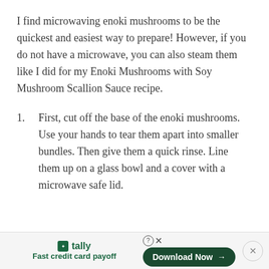I find microwaving enoki mushrooms to be the quickest and easiest way to prepare! However, if you do not have a microwave, you can also steam them like I did for my Enoki Mushrooms with Soy Mushroom Scallion Sauce recipe.
1. First, cut off the base of the enoki mushrooms. Use your hands to tear them apart into smaller bundles. Then give them a quick rinse. Line them up on a glass bowl and a cover with a microwave safe lid.
tally — Fast credit card payoff | Download Now →